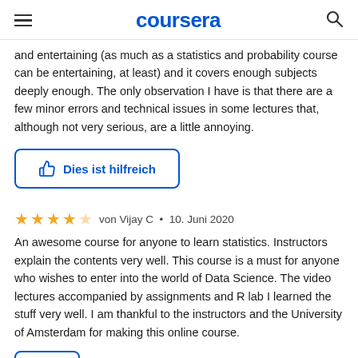coursera
and entertaining (as much as a statistics and probability course can be entertaining, at least) and it covers enough subjects deeply enough. The only observation I have is that there are a few minor errors and technical issues in some lectures that, although not very serious, are a little annoying.
[Figure (other): Thumbs up icon with blue border button labeled 'Dies ist hilfreich']
★★★★☆ von Vijay C • 10. Juni 2020
An awesome course for anyone to learn statistics. Instructors explain the contents very well. This course is a must for anyone who wishes to enter into the world of Data Science. The video lectures accompanied by assignments and R lab I learned the stuff very well. I am thankful to the instructors and the University of Amsterdam for making this online course.